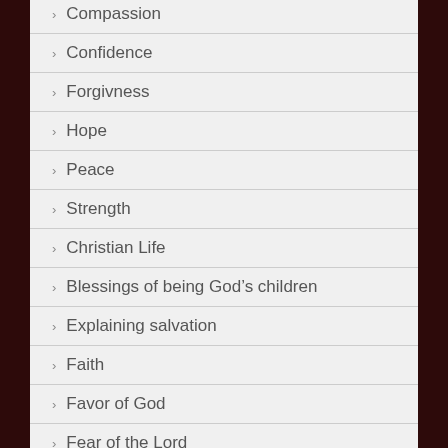Compassion
Confidence
Forgivness
Hope
Peace
Strength
Christian Life
Blessings of being God’s children
Explaining salvation
Faith
Favor of God
Fear of the Lord